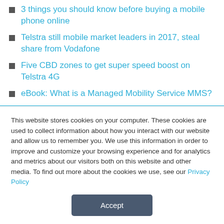3 things you should know before buying a mobile phone online
Telstra still mobile market leaders in 2017, steal share from Vodafone
Five CBD zones to get super speed boost on Telstra 4G
eBook: What is a Managed Mobility Service MMS?
VOICEPLUS SOLVES ENTERPRISE MOBILITY CHALLENGES
This website stores cookies on your computer. These cookies are used to collect information about how you interact with our website and allow us to remember you. We use this information in order to improve and customize your browsing experience and for analytics and metrics about our visitors both on this website and other media. To find out more about the cookies we use, see our Privacy Policy
Accept